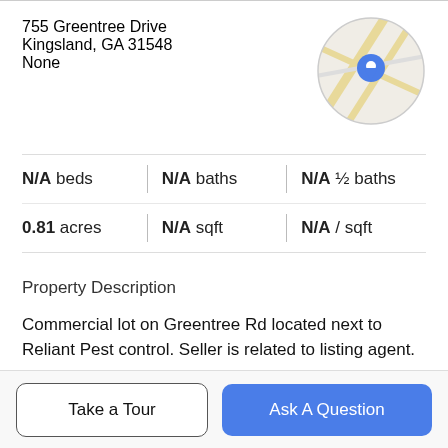755 Greentree Drive
Kingsland, GA 31548
None
[Figure (map): Circular map thumbnail showing street map with a blue location pin marker]
N/A beds | N/A baths | N/A ½ baths
0.81 acres | N/A sqft | N/A / sqft
Property Description
Commercial lot on Greentree Rd located next to Reliant Pest control. Seller is related to listing agent.
Take a Tour
Ask A Question